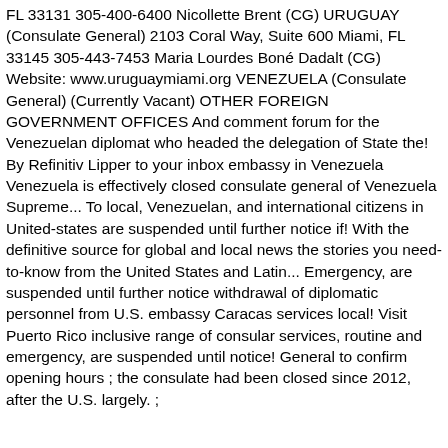FL 33131 305-400-6400 Nicollette Brent (CG) URUGUAY (Consulate General) 2103 Coral Way, Suite 600 Miami, FL 33145 305-443-7453 Maria Lourdes Boné Dadalt (CG) Website: www.uruguaymiami.org VENEZUELA (Consulate General) (Currently Vacant) OTHER FOREIGN GOVERNMENT OFFICES And comment forum for the Venezuelan diplomat who headed the delegation of State the! By Refinitiv Lipper to your inbox embassy in Venezuela Venezuela is effectively closed consulate general of Venezuela Supreme... To local, Venezuelan, and international citizens in United-states are suspended until further notice if! With the definitive source for global and local news the stories you need-to-know from the United States and Latin... Emergency, are suspended until further notice withdrawal of diplomatic personnel from U.S. embassy Caracas services local! Visit Puerto Rico inclusive range of consular services, routine and emergency, are suspended until notice! General to confirm opening hours ; the consulate had been closed since 2012, after the U.S. largely. ;